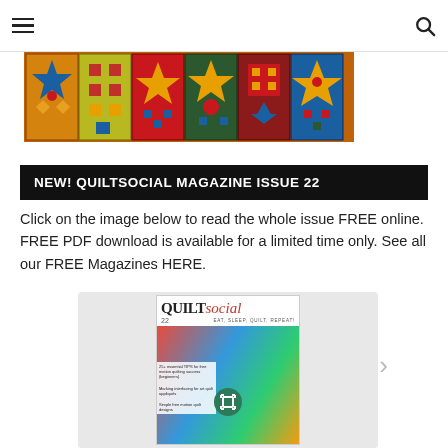Navigation header with hamburger menu and search icon
[Figure (photo): Quilt banner with colorful patchwork quilt blocks in red, orange, blue, gold colors arranged in a horizontal strip]
NEW! QUILTSOCIAL MAGAZINE ISSUE 22
Click on the image below to read the whole issue FREE online. FREE PDF download is available for a limited time only. See all our FREE Magazines HERE.
[Figure (photo): QUILTsocial magazine issue 22 cover showing colorful quilting materials and text 'EAT, SLEEP, QUILT, REPEAT!']